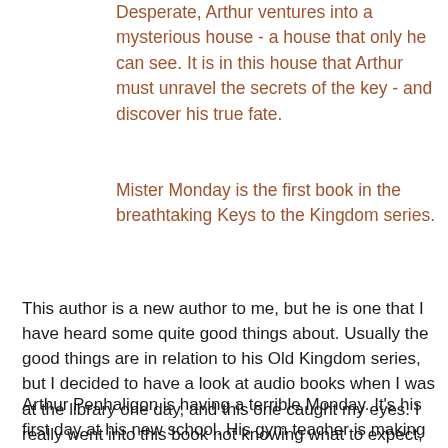Desperate, Arthur ventures into a mysterious house - a house that only he can see. It is in this house that Arthur must unravel the secrets of the key - and discover his true fate.
Mister Monday is the first book in the breathtaking Keys to the Kingdom series.
This author is a new author to me, but he is one that I have heard some quite good things about. Usually the good things are in relation to his Old Kingdom series, but I decided to have a look at audio books when I was at the library one day, and this one caught my eyes. I really went into this book not knowing what to expect, and was pleasantly surprised by the book.
Arthur Penhaligon is having a terrible Monday. It's his first day at his new school. His gym teacher is making him run cross country in his school clothes, and then he has a terrible asthma attack and collapses, not knowing that he is